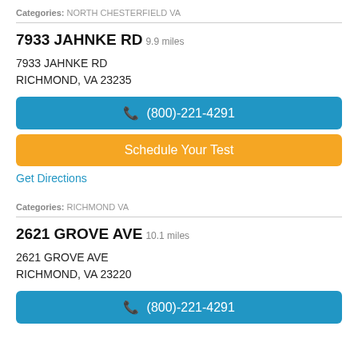Categories: NORTH CHESTERFIELD VA
7933 JAHNKE RD 9.9 miles
7933 JAHNKE RD
RICHMOND, VA 23235
(800)-221-4291
Schedule Your Test
Get Directions
Categories: RICHMOND VA
2621 GROVE AVE 10.1 miles
2621 GROVE AVE
RICHMOND, VA 23220
(800)-221-4291